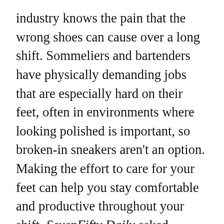industry knows the pain that the wrong shoes can cause over a long shift. Sommeliers and bartenders have physically demanding jobs that are especially hard on their feet, often in environments where looking polished is important, so broken-in sneakers aren't an option. Making the effort to care for your feet can help you stay comfortable and productive throughout your shift. SevenFifty Daily asked sommeliers and bartenders across the country, as well as a podiatrist, for their best foot care tips and product recommendations. Here's what they had to say about caring for hardworking feet.